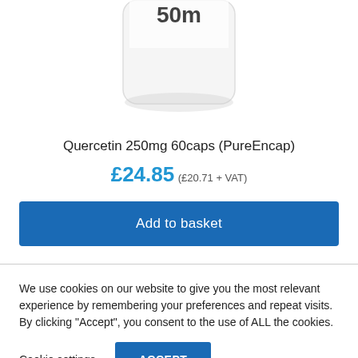[Figure (photo): Partial view of a white supplement bottle (Quercetin 250mg 60caps PureEncap) cropped at the top, showing the bottom portion of the bottle on a white background.]
Quercetin 250mg 60caps (PureEncap)
£24.85 (£20.71 + VAT)
Add to basket
We use cookies on our website to give you the most relevant experience by remembering your preferences and repeat visits. By clicking "Accept", you consent to the use of ALL the cookies.
Cookie settings
ACCEPT